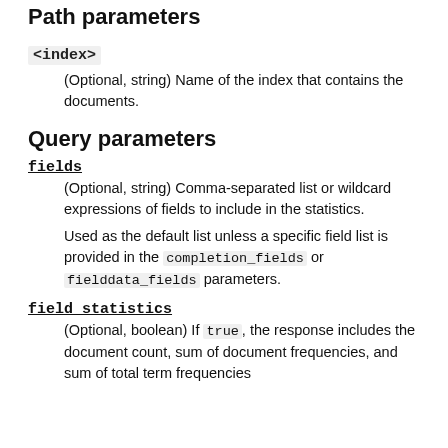Path parameters
<index>
(Optional, string) Name of the index that contains the documents.
Query parameters
fields
(Optional, string) Comma-separated list or wildcard expressions of fields to include in the statistics.
Used as the default list unless a specific field list is provided in the completion_fields or fielddata_fields parameters.
field_statistics
(Optional, boolean) If true, the response includes the document count, sum of document frequencies, and sum of total term frequencies